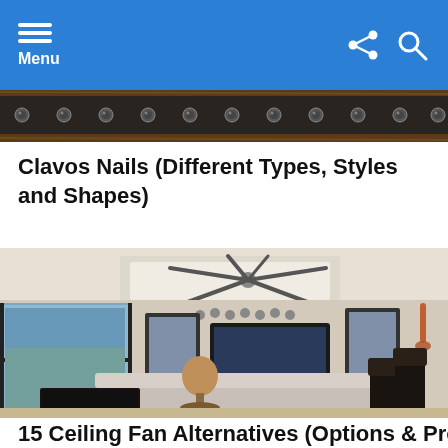Menu
[Figure (photo): Close-up photo of dark metal riveted beam or door, showing studs/nails in a row against wood background]
Clavos Nails (Different Types, Styles and Shapes)
[Figure (photo): Modern luxury living room interior with large ceiling fan, floor-to-ceiling windows, sectional sofa, fireplace, wall-mounted TV, and bar stools]
15 Ceiling Fan Alternatives (Options & Pros…